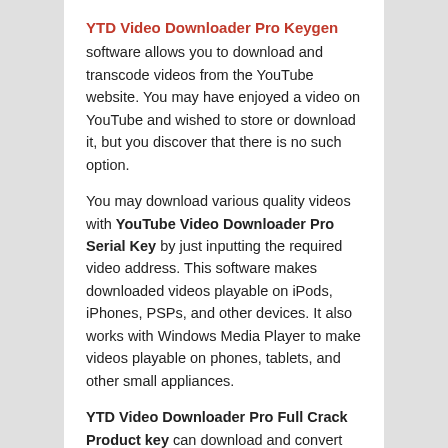YTD Video Downloader Pro Keygen
software allows you to download and transcode videos from the YouTube website. You may have enjoyed a video on YouTube and wished to store or download it, but you discover that there is no such option.
You may download various quality videos with YouTube Video Downloader Pro Serial Key by just inputting the required video address. This software makes downloaded videos playable on iPods, iPhones, PSPs, and other devices. It also works with Windows Media Player to make videos playable on phones, tablets, and other small appliances.
YTD Video Downloader Pro Full Crack Product key can download and convert videos from sites like Google and Yahoo